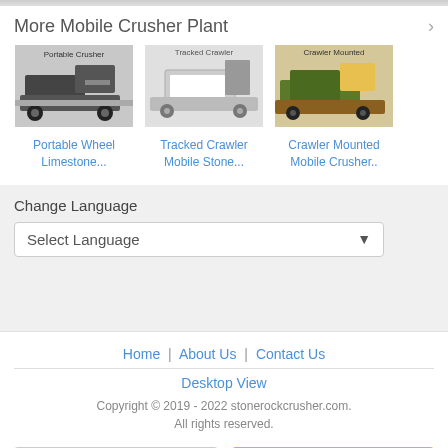More Mobile Crusher Plant
[Figure (photo): Portable Wheel Limestone crusher machine photo]
Portable Wheel Limestone...
[Figure (photo): Tracked Crawler Mobile Stone crusher photo]
Tracked Crawler Mobile Stone...
[Figure (photo): Crawler Mounted Mobile Crusher photo]
Crawler Mounted Mobile Crusher..
Change Language
Select Language
Home | About Us | Contact Us
Desktop View
Copyright © 2019 - 2022 stonerockcrusher.com. All rights reserved.
Call Us
Contact Supplier